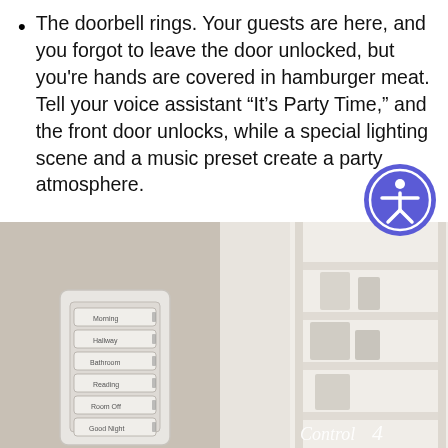The doorbell rings. Your guests are here, and you forgot to leave the door unlocked, but you're hands are covered in hamburger meat. Tell your voice assistant “It’s Party Time,” and the front door unlocks, while a special lighting scene and a music preset create a party atmosphere.
[Figure (photo): Photo of a smart home lighting control keypad mounted on a wall, with buttons labeled Morning, Hallway, Bathroom, Reading, Room Off, Good Night. Background shows white shelving unit. Control4 logo visible at bottom right.]